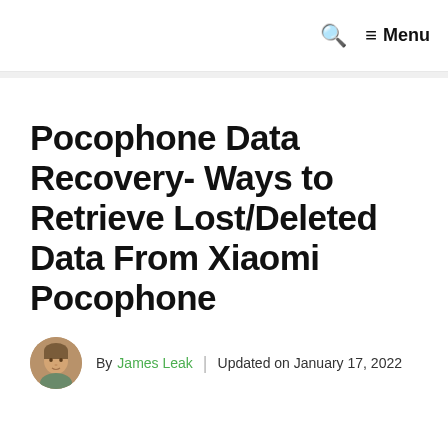Menu
Pocophone Data Recovery- Ways to Retrieve Lost/Deleted Data From Xiaomi Pocophone
By James Leak | Updated on January 17, 2022